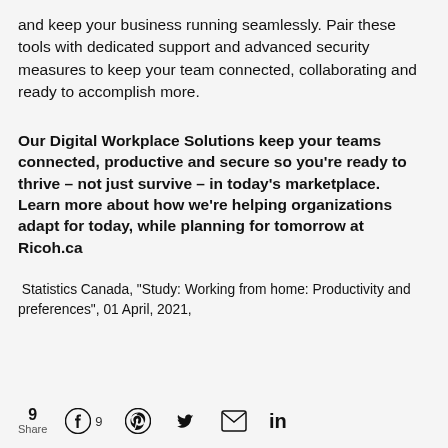and keep your business running seamlessly. Pair these tools with dedicated support and advanced security measures to keep your team connected, collaborating and ready to accomplish more.
Our Digital Workplace Solutions keep your teams connected, productive and secure so you’re ready to thrive – not just survive – in today’s marketplace.  Learn more about how we’re helping organizations adapt for today, while planning for tomorrow at Ricoh.ca
Statistics Canada, “Study: Working from home: Productivity and preferences”, 01 April, 2021,
9 Share  [Facebook] 9  [Pinterest]  [Twitter]  [Email]  [LinkedIn]